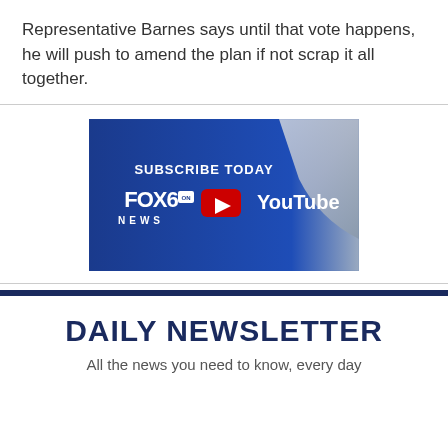Representative Barnes says until that vote happens, he will push to amend the plan if not scrap it all together.
[Figure (screenshot): FOX6 News YouTube subscription graphic with blue background showing 'SUBSCRIBE TODAY FOX6 NEWS' and YouTube logo]
DAILY NEWSLETTER
All the news you need to know, every day